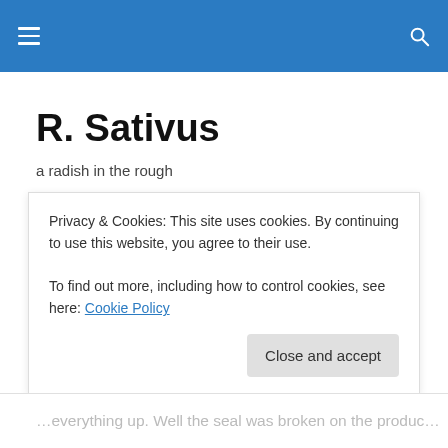R. Sativus — navigation header with hamburger menu and search icon
R. Sativus
a radish in the rough
TAGGED WITH HP
Technical Support
Today my new laptop that my mom got me came in the…
Privacy & Cookies: This site uses cookies. By continuing to use this website, you agree to their use.
To find out more, including how to control cookies, see here: Cookie Policy
[Close and accept]
…everything up. Well the seal was broken on the produc…